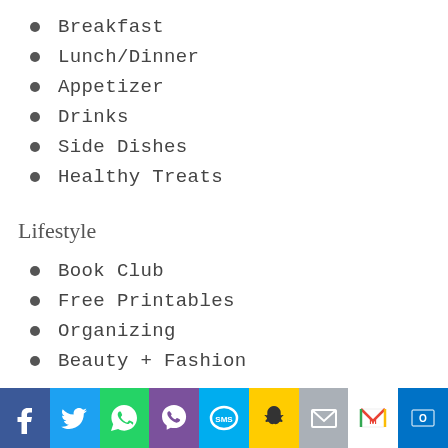Breakfast
Lunch/Dinner
Appetizer
Drinks
Side Dishes
Healthy Treats
Lifestyle
Book Club
Free Printables
Organizing
Beauty + Fashion
[Figure (infographic): Social media sharing icon bar at the bottom: Facebook (blue), Twitter (light blue), WhatsApp (green), Viber (purple), SMS (cyan), Snapchat (yellow), Email (gray), Gmail (white), Outlook (dark blue)]